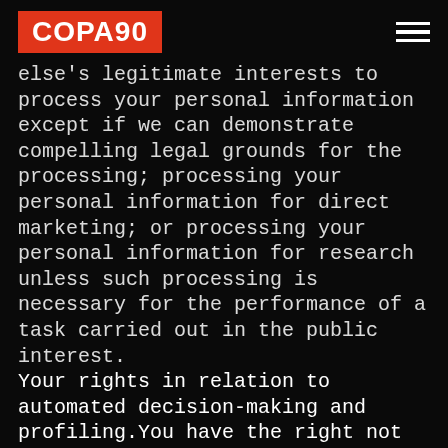COPA90
else's legitimate interests to process your personal information except if we can demonstrate compelling legal grounds for the processing; processing your personal information for direct marketing; or processing your personal information for research unless such processing is necessary for the performance of a task carried out in the public interest.
Your rights in relation to automated decision-making and profiling.You have the right not to be subject to a decision when it's based on